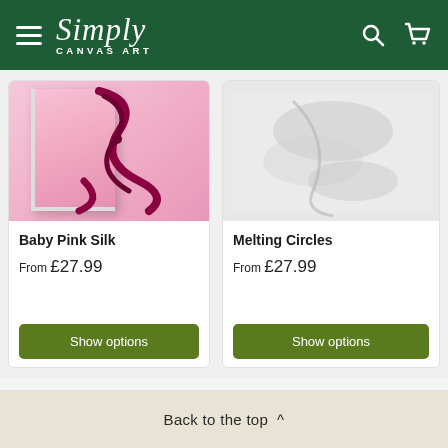Simply Canvas Art — navigation header with hamburger menu, logo, search and cart icons
[Figure (photo): Baby Pink Silk canvas art product image — pink background with dark magenta ink swirl]
Baby Pink Silk
From £27.99
Show options
[Figure (photo): Melting Circles canvas art product image — light grey/white abstract background]
Melting Circles
From £27.99
Show options
Back to the top ^